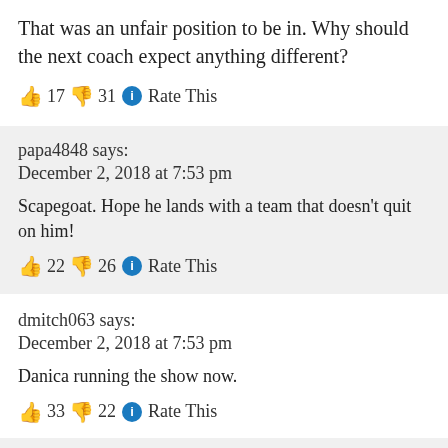That was an unfair position to be in. Why should the next coach expect anything different?
👍 17 👎 31 ℹ Rate This
papa4848 says:
December 2, 2018 at 7:53 pm
Scapegoat. Hope he lands with a team that doesn't quit on him!
👍 22 👎 26 ℹ Rate This
dmitch063 says:
December 2, 2018 at 7:53 pm
Danica running the show now.
👍 33 👎 22 ℹ Rate This
screamingyellowzonkers says:
December 2, 2018 at 7:54 pm